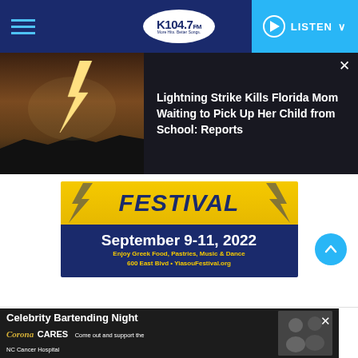K104.7 FM — LISTEN
[Figure (screenshot): News article with lightning storm photo on left; headline: Lightning Strike Kills Florida Mom Waiting to Pick Up Her Child from School: Reports]
Lightning Strike Kills Florida Mom Waiting to Pick Up Her Child from School: Reports
[Figure (infographic): Festival advertisement banner — FESTIVAL, September 9-11, 2022, Enjoy Greek Food, Pastries, Music & Dance, 600 East Blvd • YiasouFestival.org]
[Figure (infographic): Celebrity Bartending Night — Corona Cares — Come out and support the NC Cancer Hospital]